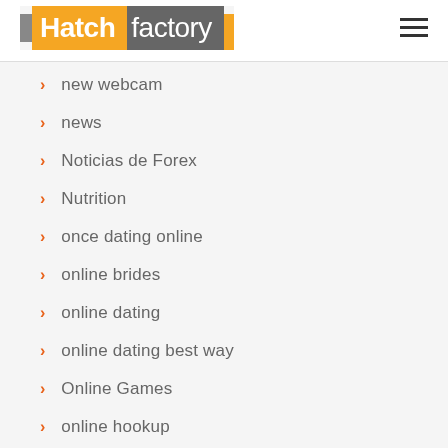Hatchfactory
new webcam
news
Noticias de Forex
Nutrition
once dating online
online brides
online dating
online dating best way
Online Games
online hookup